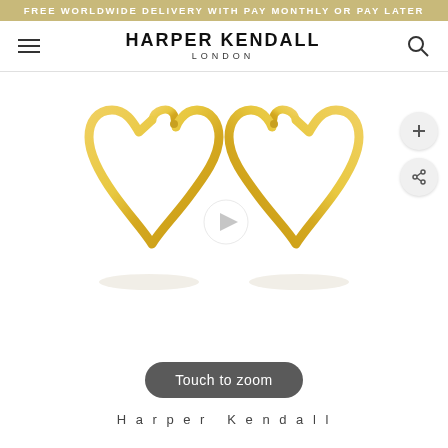FREE WORLDWIDE DELIVERY WITH PAY MONTHLY OR PAY LATER
HARPER KENDALL LONDON
[Figure (photo): Two gold heart-shaped hoop earrings displayed on a white background, facing each other. The earrings have an open heart silhouette with a gold wire frame and hinge closure at the top.]
Touch to zoom
Harper Kendall